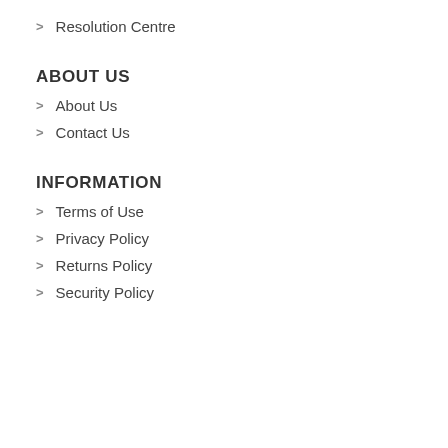Resolution Centre
ABOUT US
About Us
Contact Us
INFORMATION
Terms of Use
Privacy Policy
Returns Policy
Security Policy